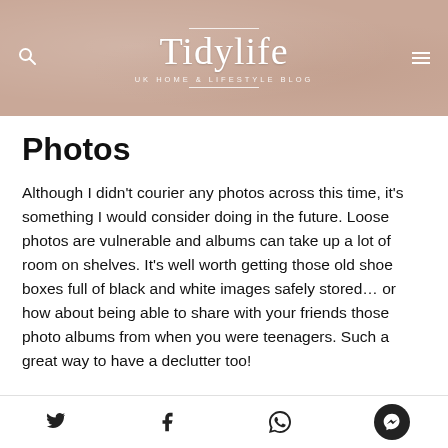Tidylife — UK HOME & LIFESTYLE BLOG
Photos
Although I didn't courier any photos across this time, it's something I would consider doing in the future. Loose photos are vulnerable and albums can take up a lot of room on shelves. It's well worth getting those old shoe boxes full of black and white images safely stored… or how about being able to share with your friends those photo albums from when you were teenagers. Such a great way to have a declutter too!
Social share icons: Twitter, Facebook, WhatsApp, Messenger